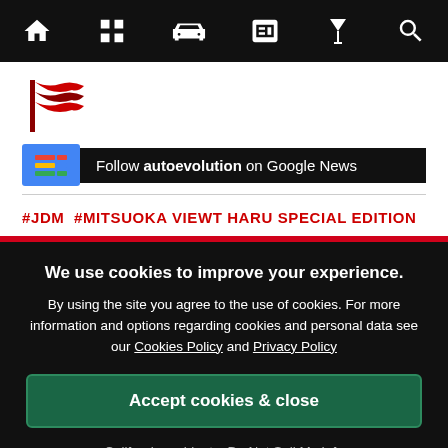Navigation bar with home, grid, car, news, filter, search icons
[Figure (logo): autoevolution flag logo in red and dark red]
[Figure (infographic): Follow autoevolution on Google News banner with Google News icon]
#JDM  #MITSUOKA VIEWT HARU SPECIAL EDITION
We use cookies to improve your experience. By using the site you agree to the use of cookies. For more information and options regarding cookies and personal data see our Cookies Policy and Privacy Policy
Accept cookies & close
California residents: Do Not Sell My Info